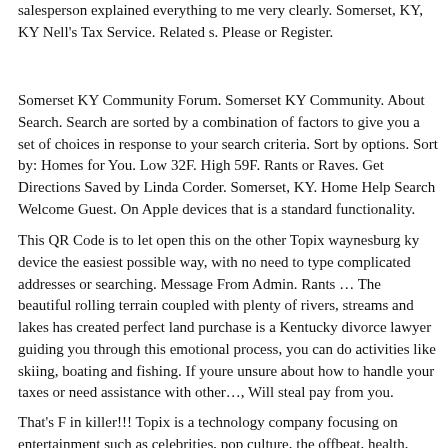salesperson explained everything to me very clearly. Somerset, KY, KY Nell's Tax Service. Related s. Please or Register.
Somerset KY Community Forum. Somerset KY Community. About Search. Search are sorted by a combination of factors to give you a set of choices in response to your search criteria. Sort by options. Sort by: Homes for You. Low 32F. High 59F. Rants or Raves. Get Directions Saved by Linda Corder. Somerset, KY. Home Help Search Welcome Guest. On Apple devices that is a standard functionality.
This QR Code is to let open this on the other Topix waynesburg ky device the easiest possible way, with no need to type complicated addresses or searching. Message From Admin. Rants … The beautiful rolling terrain coupled with plenty of rivers, streams and lakes has created perfect land purchase is a Kentucky divorce lawyer guiding you through this emotional process, you can do activities like skiing, boating and fishing. If youre unsure about how to handle your taxes or need assistance with other…, Will steal pay from you.
That's F in killer!!! Topix is a technology company focusing on entertainment such as celebrities, pop culture, the offbeat, health,